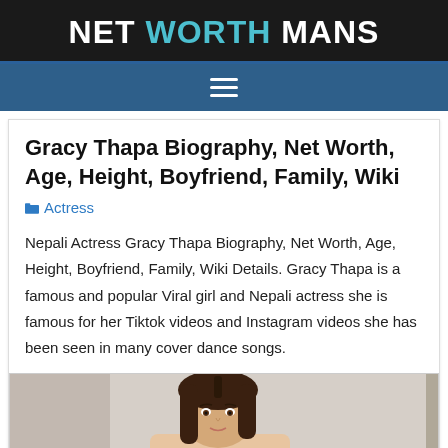NET WORTH MANS
Gracy Thapa Biography, Net Worth, Age, Height, Boyfriend, Family, Wiki
Actress
Nepali Actress Gracy Thapa Biography, Net Worth, Age, Height, Boyfriend, Family, Wiki Details. Gracy Thapa is a famous and popular Viral girl and Nepali actress she is famous for her Tiktok videos and Instagram videos she has been seen in many cover dance songs.
[Figure (photo): Photo of Gracy Thapa, a young woman with long dark hair]